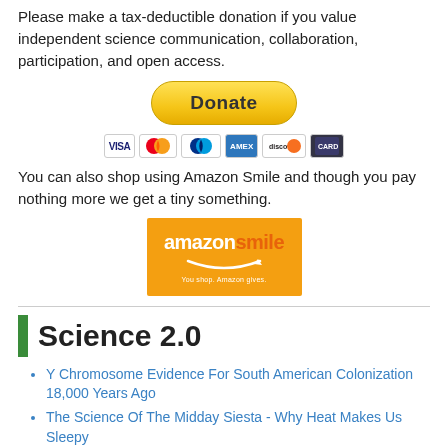Please make a tax-deductible donation if you value independent science communication, collaboration, participation, and open access.
[Figure (infographic): PayPal Donate button (yellow/gold rounded button with bold 'Donate' text) followed by a row of payment method icons: Visa, Mastercard, PayPal, American Express, Discover, and another card icon.]
You can also shop using Amazon Smile and though you pay nothing more we get a tiny something.
[Figure (logo): Amazon Smile logo on orange/amber background with white text 'amazonsmile' and subtitle text, with a smile arc underneath.]
Science 2.0
Y Chromosome Evidence For South American Colonization 18,000 Years Ago
The Science Of The Midday Siesta - Why Heat Makes Us Sleepy